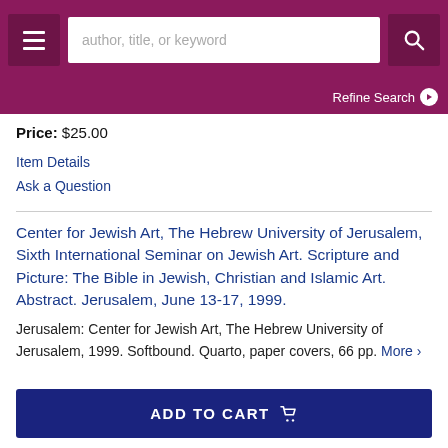author, title, or keyword — Refine Search
Price: $25.00
Item Details
Ask a Question
Center for Jewish Art, The Hebrew University of Jerusalem, Sixth International Seminar on Jewish Art. Scripture and Picture: The Bible in Jewish, Christian and Islamic Art. Abstract. Jerusalem, June 13-17, 1999.
Jerusalem: Center for Jewish Art, The Hebrew University of Jerusalem, 1999. Softbound. Quarto, paper covers, 66 pp. More >
ADD TO CART